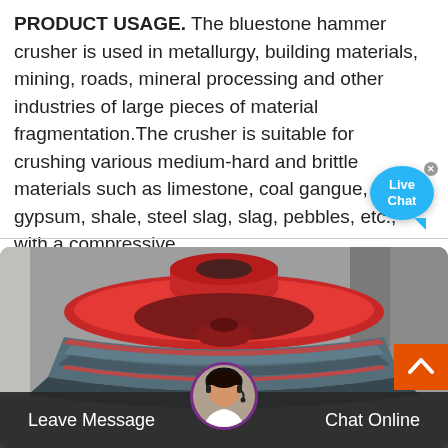PRODUCT USAGE. The bluestone hammer crusher is used in metallurgy, building materials, mining, roads, mineral processing and other industries of large pieces of material fragmentation.The crusher is suitable for crushing various medium-hard and brittle materials such as limestone, coal gangue, gypsum, shale, steel slag, slag, pebbles, etc., with a compressive ...
[Figure (photo): A large red and gray industrial hammer crusher component (mantle/concave assembly) photographed in a factory/workshop setting. The part is bowl-shaped with red exterior and gray ribbed lower section.]
Leave Message
Chat Online